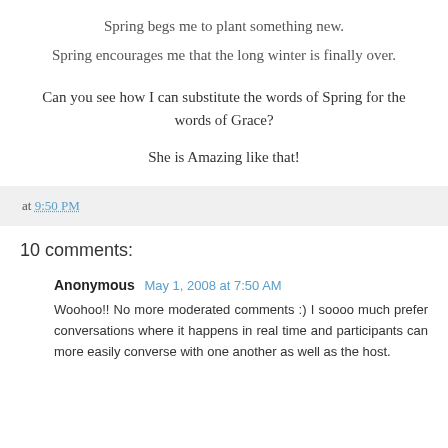Spring begs me to plant something new.
Spring encourages me that the long winter is finally over.
Can you see how I can substitute the words of Spring for the words of Grace?
She is Amazing like that!
at 9:50 PM
10 comments:
Anonymous May 1, 2008 at 7:50 AM
Woohoo!! No more moderated comments :) I soooo much prefer conversations where it happens in real time and participants can more easily converse with one another as well as the host.